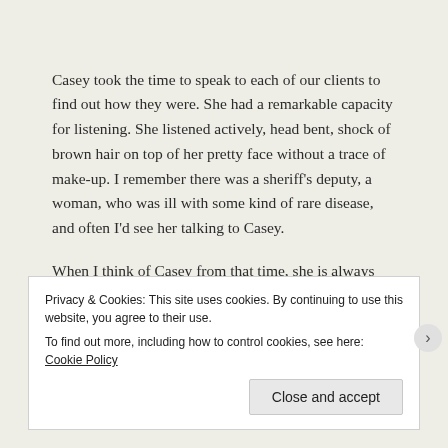Casey took the time to speak to each of our clients to find out how they were. She had a remarkable capacity for listening. She listened actively, head bent, shock of brown hair on top of her pretty face without a trace of make-up. I remember there was a sheriff's deputy, a woman, who was ill with some kind of rare disease, and often I'd see her talking to Casey.
When I think of Casey from that time, she is always listening to someone. Not talking. Her heart was as big as a barn door, and she had the capacity to take in another's pain. What a nurse.
Privacy & Cookies: This site uses cookies. By continuing to use this website, you agree to their use.
To find out more, including how to control cookies, see here: Cookie Policy